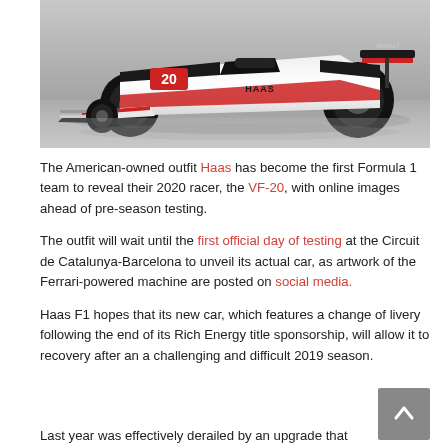[Figure (photo): Haas VF-20 Formula 1 car in black and white livery with red accents, number 20 on nose, studio photograph]
The American-owned outfit Haas has become the first Formula 1 team to reveal their 2020 racer, the VF-20, with online images ahead of pre-season testing.
The outfit will wait until the first official day of testing at the Circuit de Catalunya-Barcelona to unveil its actual car, as artwork of the Ferrari-powered machine are posted on social media.
Haas F1 hopes that its new car, which features a change of livery following the end of its Rich Energy title sponsorship, will allow it to recovery after an a challenging and difficult 2019 season.
Last year was effectively derailed by an upgrade that